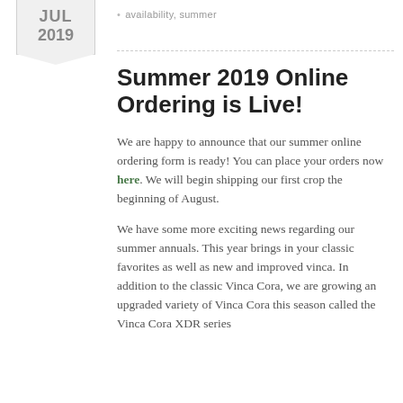JUL 2019
availability, summer
Summer 2019 Online Ordering is Live!
We are happy to announce that our summer online ordering form is ready! You can place your orders now here. We will begin shipping our first crop the beginning of August.
We have some more exciting news regarding our summer annuals. This year brings in your classic favorites as well as new and improved vinca. In addition to the classic Vinca Cora, we are growing an upgraded variety of Vinca Cora this season called the Vinca Cora XDR series